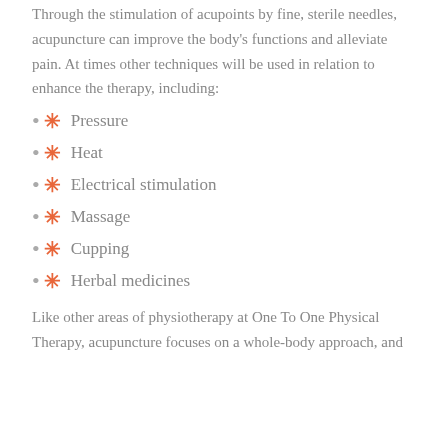Through the stimulation of acupoints by fine, sterile needles, acupuncture can improve the body's functions and alleviate pain. At times other techniques will be used in relation to enhance the therapy, including:
Pressure
Heat
Electrical stimulation
Massage
Cupping
Herbal medicines
Like other areas of physiotherapy at One To One Physical Therapy, acupuncture focuses on a whole-body approach, and